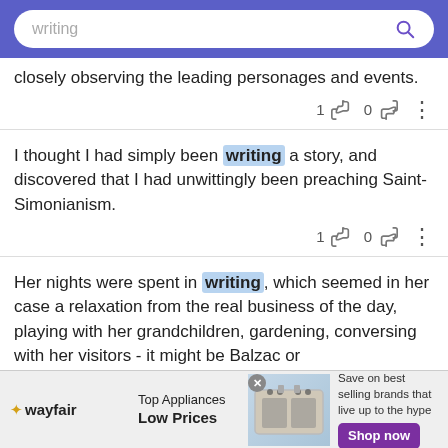[Figure (screenshot): Search bar with text 'writing' and purple search icon on blue/purple background]
closely observing the leading personages and events.
I thought I had simply been writing a story, and discovered that I had unwittingly been preaching Saint-Simonianism.
Her nights were spent in writing, which seemed in her case a relaxation from the real business of the day, playing with her grandchildren, gardening, conversing with her visitors - it might be Balzac or
[Figure (infographic): Wayfair advertisement banner: Top Appliances Low Prices, Save on best selling brands that live up to the hype, Shop now button]